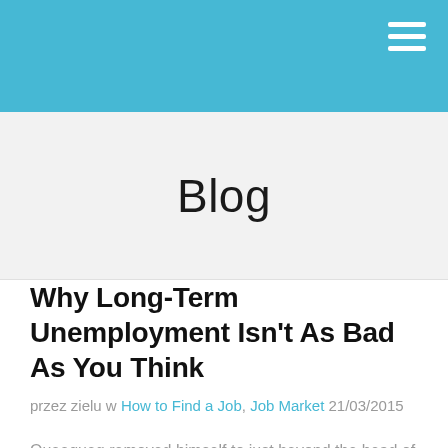Blog
Why Long-Term Unemployment Isn't As Bad As You Think
przez zielu w How to Find a Job, Job Market 21/03/2015
Queequeg removed himself to just beyond the head of the sleeper, and lighted his tomahawk pipe. We kept the